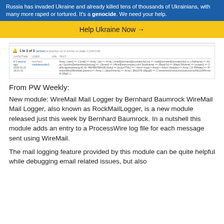Russia has invaded Ukraine and already killed tens of thousands of Ukrainians, with many more raped or tortured. It's a genocide. We need your help.
Help Ukraine Now →
[Figure (screenshot): Screenshot of a ProcessWire log table showing 1 to 3 of 3 entries with columns DATE/TIME, USER, URL, TEXT]
From PW Weekly:
New module: WireMail Mail Logger by Bernhard Baumrock WireMail Mail Logger, also known as RockMailLogger, is a new module released just this week by Bernhard Baumrock. In a nutshell this module adds an entry to a ProcessWire log file for each message sent using WireMail.
The mail logging feature provided by this module can be quite helpful while debugging email related issues, but also